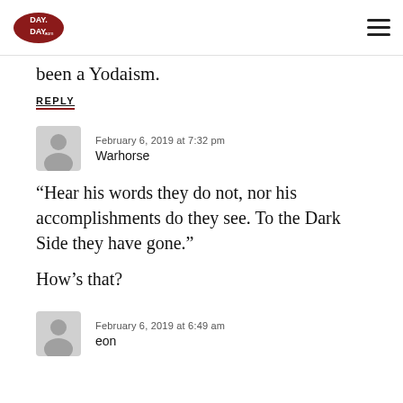DAY DAY
been a Yodaism.
REPLY
February 6, 2019 at 7:32 pm
Warhorse
“Hear his words they do not, nor his accomplishments do they see. To the Dark Side they have gone.”

How’s that?
February 6, 2019 at 6:49 am
eon